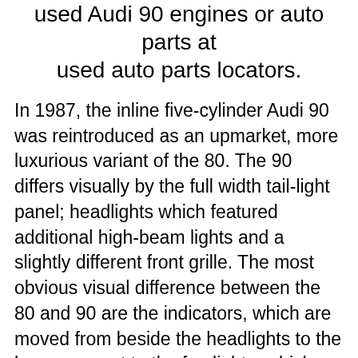used Audi 90 engines or auto parts at used auto parts locators.
In 1987, the inline five-cylinder Audi 90 was reintroduced as an upmarket, more luxurious variant of the 80. The 90 differs visually by the full width tail-light panel; headlights which featured additional high-beam lights and a slightly different front grille. The most obvious visual difference between the 80 and 90 are the indicators, which are moved from beside the headlights to the bumpers next to the fog lights, which were standard fitment on the 90. From 1989 to 1991 the 90 also offered the first 20-valve engine from Audi since the turbocharged engine used in the Audi Sport Quattro. This engine produced 170hp and